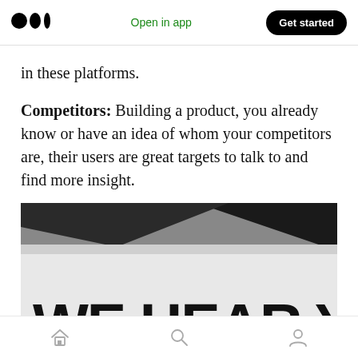Medium logo | Open in app | Get started
in these platforms.
Competitors: Building a product, you already know or have an idea of whom your competitors are, their users are great targets to talk to and find more insight.
[Figure (photo): Black and white close-up photo of a sign or poster that reads 'WE HEAR YOU' in large bold capital letters]
Home | Search | Profile navigation icons